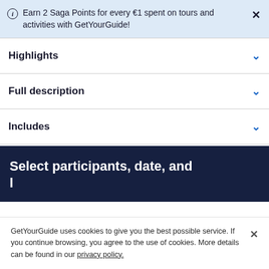Earn 2 Saga Points for every €1 spent on tours and activities with GetYourGuide!
Highlights
Full description
Includes
Select participants, date, and
GetYourGuide uses cookies to give you the best possible service. If you continue browsing, you agree to the use of cookies. More details can be found in our privacy policy.